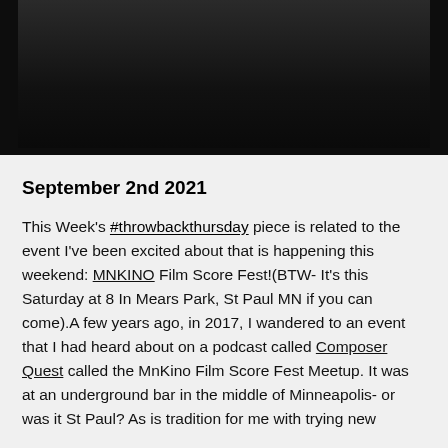[Figure (photo): A dark/black photograph, partially cropped at the top of the page, showing a dark scene against a black background.]
September 2nd 2021
This Week's #throwbackthursday piece is related to the event I've been excited about that is happening this weekend: MNKINO Film Score Fest!(BTW- It's this Saturday at 8 In Mears Park, St Paul MN if you can come).A few years ago, in 2017, I wandered to an event that I had heard about on a podcast called Composer Quest called the MnKino Film Score Fest Meetup. It was at an underground bar in the middle of Minneapolis- or was it St Paul? As is tradition for me with trying new